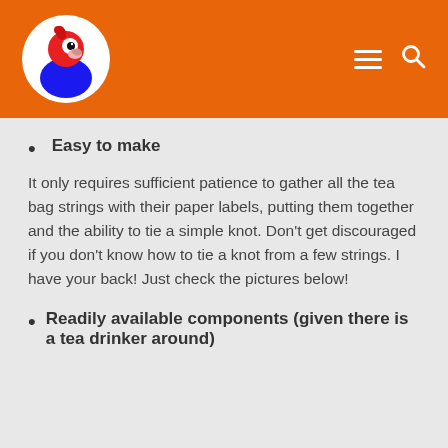[Figure (logo): Orange header bar with a circular logo showing a cartoon rooster/parrot bird with red head and blue body on white circle. Navigation icons (hamburger menu and search) on the right.]
Easy to make
It only requires sufficient patience to gather all the tea bag strings with their paper labels, putting them together and the ability to tie a simple knot. Don't get discouraged if you don't know how to tie a knot from a few strings. I have your back! Just check the pictures below!
Readily available components (given there is a tea drinker around)